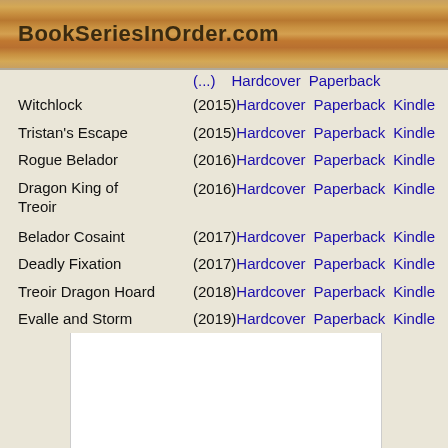BookSeriesInOrder.com
Witchlock (2015) Hardcover Paperback Kindle
Tristan's Escape (2015) Hardcover Paperback Kindle
Rogue Belador (2016) Hardcover Paperback Kindle
Dragon King of Treoir (2016) Hardcover Paperback Kindle
Belador Cosaint (2017) Hardcover Paperback Kindle
Deadly Fixation (2017) Hardcover Paperback Kindle
Treoir Dragon Hoard (2018) Hardcover Paperback Kindle
Evalle and Storm (2019) Hardcover Paperback Kindle